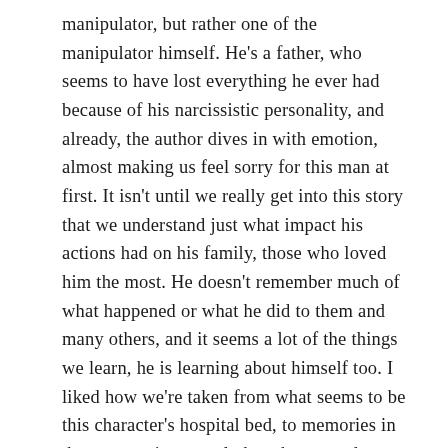manipulator, but rather one of the manipulator himself. He's a father, who seems to have lost everything he ever had because of his narcissistic personality, and already, the author dives in with emotion, almost making us feel sorry for this man at first. It isn't until we really get into this story that we understand just what impact his actions had on his family, those who loved him the most. He doesn't remember much of what happened or what he did to them and many others, and it seems a lot of the things we learn, he is learning about himself too. I liked how we're taken from what seems to be this character's hospital bed, to memories in the past, seeing exactly how he conned others and led them on for his own personal gain. The author has pulled out all the stops to make this story a completely different experience to